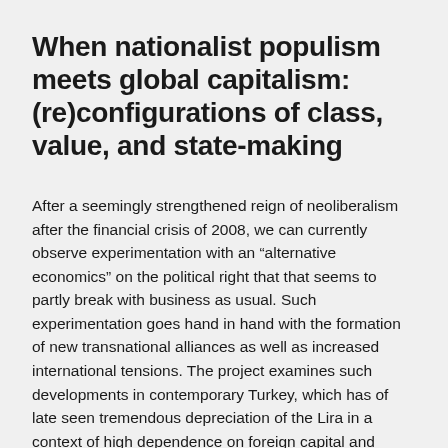When nationalist populism meets global capitalism: (re)configurations of class, value, and state-making
After a seemingly strengthened reign of neoliberalism after the financial crisis of 2008, we can currently observe experimentation with an “alternative economics” on the political right that that seems to partly break with business as usual. Such experimentation goes hand in hand with the formation of new transnational alliances as well as increased international tensions. The project examines such developments in contemporary Turkey, which has of late seen tremendous depreciation of the Lira in a context of high dependence on foreign capital and household indebtedness. It examines the political